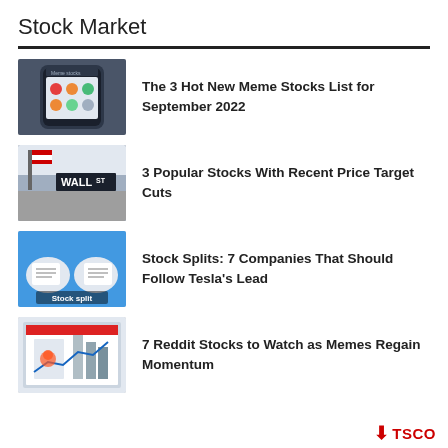Stock Market
The 3 Hot New Meme Stocks List for September 2022
3 Popular Stocks With Recent Price Target Cuts
Stock Splits: 7 Companies That Should Follow Tesla's Lead
7 Reddit Stocks to Watch as Memes Regain Momentum
TSCO